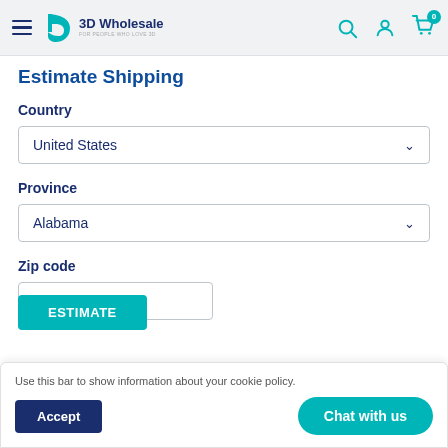3D Wholesale — For People Who Love 3D
Estimate Shipping
Country
United States
Province
Alabama
Zip code
Use this bar to show information about your cookie policy.
Accept
Chat with us
Estimate